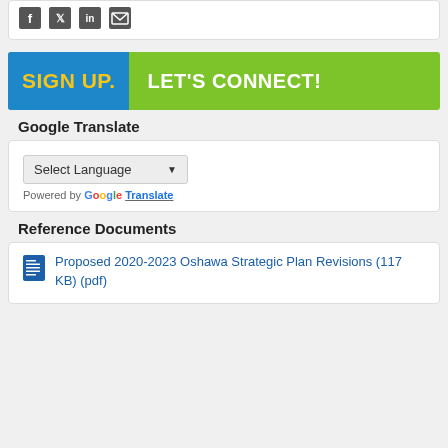[Figure (infographic): Social media share icons: Facebook, Twitter, LinkedIn, Email]
[Figure (infographic): Sign Up. Let's Connect! banner with blue background for SIGN UP and green background for LET'S CONNECT!]
Google Translate
[Figure (screenshot): Google Translate widget with Select Language dropdown and Powered by Google Translate text]
Reference Documents
Proposed 2020-2023 Oshawa Strategic Plan Revisions (117 KB) (pdf)